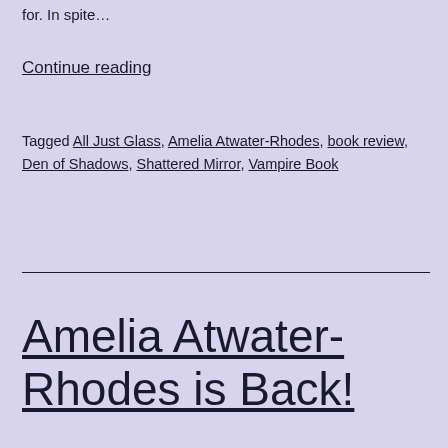for. In spite…
Continue reading
Tagged All Just Glass, Amelia Atwater-Rhodes, book review, Den of Shadows, Shattered Mirror, Vampire Book
Amelia Atwater-Rhodes is Back!